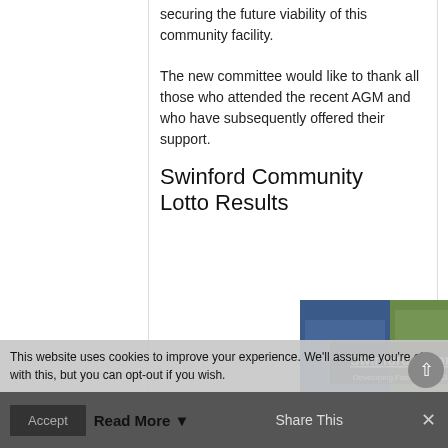securing the future viability of this community facility.
The new committee would like to thank all those who attended the recent AGM and who have subsequently offered their support.
Swinford Community Lotto Results
[Figure (photo): Swinford Community Lotto banner image showing sports teams and text 'Swinford Community Lotto - Developing Facilities for Clubs in Our Community']
This website uses cookies to improve your experience. We'll assume you're ok with this, but you can opt-out if you wish.
Accept | Read More | Share This | ×